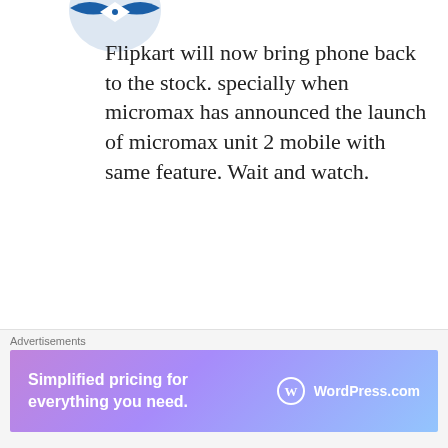[Figure (logo): Partial blue and white logo at top left, appears to be a shield/crest style emblem]
Flipkart will now bring phone back to the stock. specially when micromax has announced the launch of micromax unit 2 mobile with same feature. Wait and watch.
★ Like
REPLY
[Figure (logo): Purple cross/plus shaped avatar icon with four white squares arranged in a 2x2 grid]
varma
MAY 23, 2014 AT 2:16 PM
That is a purely a chin…
Advertisements
[Figure (infographic): WordPress.com advertisement banner with gradient purple to blue background. Text: Simplified pricing for everything you need. WordPress.com logo on right.]